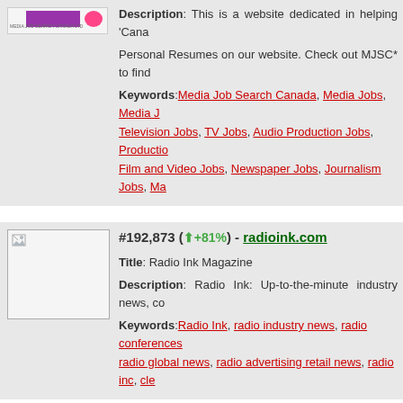Description: This is a website dedicated in helping 'Cana...
Personal Resumes on our website. Check out MJSC* to find...
Keywords: Media Job Search Canada, Media Jobs, Media J..., Television Jobs, TV Jobs, Audio Production Jobs, Production..., Film and Video Jobs, Newspaper Jobs, Journalism Jobs, Ma...
#192,873 (↑+81%) - radioink.com
Title: Radio Ink Magazine
Description: Radio Ink: Up-to-the-minute industry news, co...
Keywords: Radio Ink, radio industry news, radio conferences..., radio global news, radio advertising retail news, radio inc, cle...